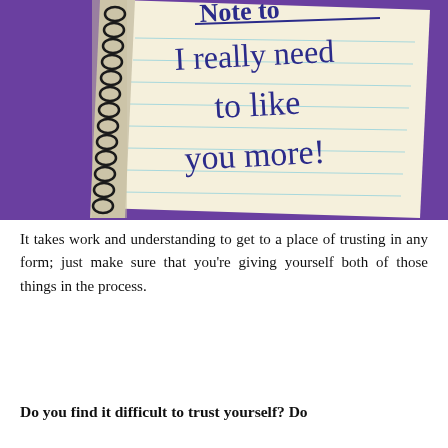[Figure (illustration): Illustration of a spiral-bound notebook with lined paper on a purple background. Written in dark blue handwriting-style text: 'Note to...' (partially visible at top, underlined), 'I really need to like you more!']
It takes work and understanding to get to a place of trusting in any form; just make sure that you're giving yourself both of those things in the process.
Do you find it difficult to trust yourself? Do